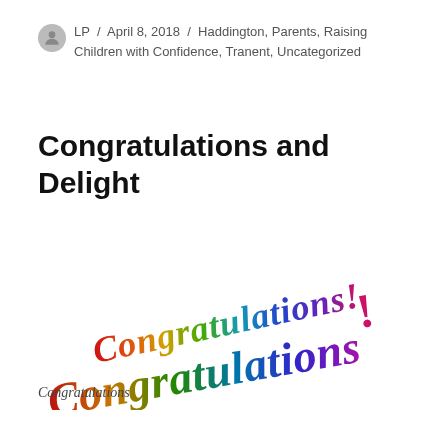LP / April 8, 2018 / Haddington, Parents, Raising Children with Confidence, Tranent, Uncategorized
Congratulations and Delight
[Figure (illustration): Rainbow-colored 3D script text reading 'Congratulations!' arching upward diagonally from left to right, with colors transitioning from red/orange on the left through green in the middle to purple/pink on the right with a red exclamation mark.]
Congratulations